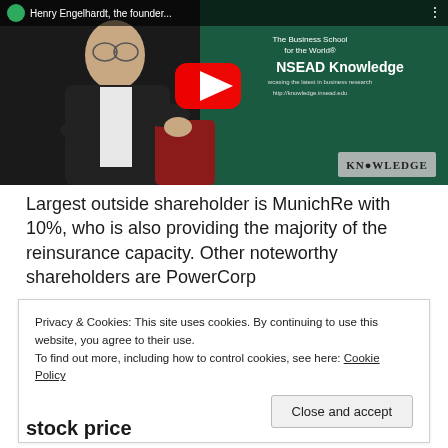[Figure (screenshot): YouTube video thumbnail showing Henry Engelhardt, founder, seated and speaking, with INSEAD Knowledge branding and a red YouTube play button overlay. Title bar reads 'Henry Engelhardt, the founder...' with green circle logo and three-dots menu.]
Largest outside shareholder is MunichRe with 10%, who is also providing the majority of the reinsurance capacity. Other noteworthy shareholders are PowerCorp
Privacy & Cookies: This site uses cookies. By continuing to use this website, you agree to their use.
To find out more, including how to control cookies, see here: Cookie Policy
Close and accept
stock price